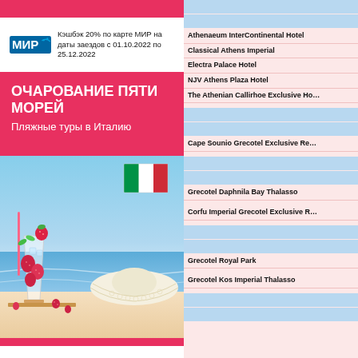[Figure (illustration): Top pink/red banner strip]
Кэшбэк 20% по карте МИР на даты заездов с 01.10.2022 по 25.12.2022
ОЧАРОВАНИЕ ПЯТИ МОРЕЙ
Пляжные туры в Италию
[Figure (photo): Beach scene with strawberry cocktail and straw hat]
| Athenaeum InterContinental Hotel |
| Classical Athens Imperial |
| Electra Palace Hotel |
| NJV Athens Plaza Hotel |
| The Athenian Callirhoe Exclusive Ho… |
| Cape Sounio Grecotel Exclusive Re… |
| Grecotel Daphnila Bay Thalasso |
| Corfu Imperial Grecotel Exclusive R… |
| Grecotel Royal Park |
| Grecotel Kos Imperial Thalasso |